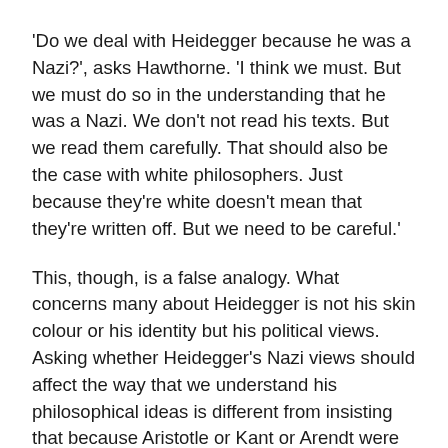'Do we deal with Heidegger because he was a Nazi?', asks Hawthorne. 'I think we must. But we must do so in the understanding that he was a Nazi. We don't not read his texts. But we read them carefully. That should also be the case with white philosophers. Just because they're white doesn't mean that they're written off. But we need to be careful.'
This, though, is a false analogy. What concerns many about Heidegger is not his skin colour or his identity but his political views. Asking whether Heidegger's Nazi views should affect the way that we understand his philosophical ideas is different from insisting that because Aristotle or Kant or Arendt were white, so we should be careful in the way we read their writings.
'Whiteness is not a useful category when talking of